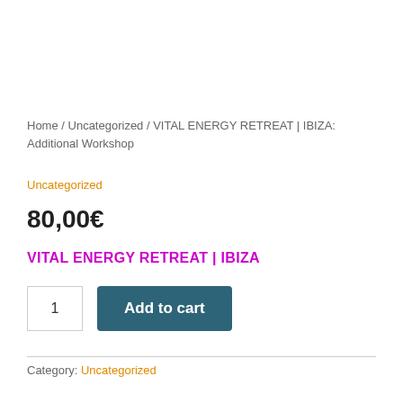Home / Uncategorized / VITAL ENERGY RETREAT | IBIZA: Additional Workshop
Uncategorized
80,00€
VITAL ENERGY RETREAT | IBIZA
1
Add to cart
Category: Uncategorized